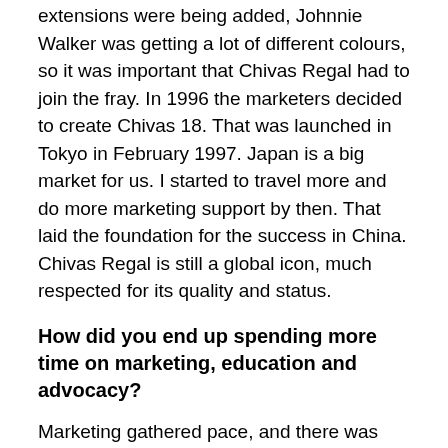extensions were being added, Johnnie Walker was getting a lot of different colours, so it was important that Chivas Regal had to join the fray. In 1996 the marketers decided to create Chivas 18. That was launched in Tokyo in February 1997. Japan is a big market for us. I started to travel more and do more marketing support by then. That laid the foundation for the success in China. Chivas Regal is still a global icon, much respected for its quality and status.
How did you end up spending more time on marketing, education and advocacy?
Marketing gathered pace, and there was more demand abroad for education and advocacy. I started to move a little more to marketing and less on blending. Meanwhile, the blending team increased in numbers, because the portfolio was increasing. In 2005, Allied joined the fray, and with that came Sandy Hyslop, the master blender of Ballantine's, so I transitioned into marketing, advocacy and